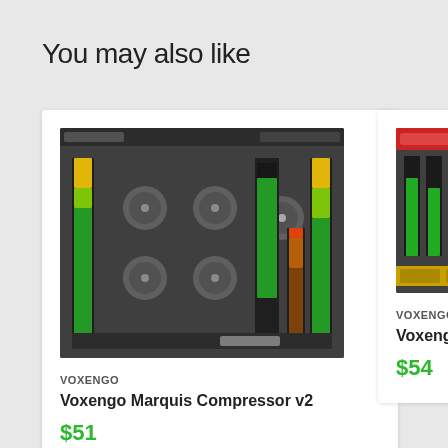You may also like
[Figure (screenshot): Voxengo Marquis Compressor v2 plugin UI screenshot showing audio compressor interface with green VU meters, knobs and dark background]
VOXENGO
Voxengo Marquis Compressor v2
$51
[Figure (screenshot): Voxengo Deft Compressor plugin UI screenshot partially visible with red header bar and green meters]
VOXENGO
Voxengo Deft Comp
$54